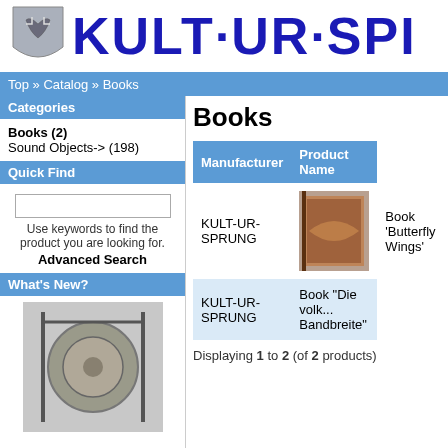[Figure (logo): KULT-UR-SPI logo with shield icon and blue bold text]
Top » Catalog » Books
Categories
Books (2)
Sound Objects-> (198)
Quick Find
Use keywords to find the product you are looking for.
Advanced Search
What's New?
[Figure (photo): Gong instrument photo placeholder]
Gong Oblong Bass 03 "Pluto"
1.320,00€
[incl. 19% Tax excl. Shipping]
Information
Books
| Manufacturer | Product Name |
| --- | --- |
| KULT-UR-SPRUNG | Book 'Butterfly Wings' |
| KULT-UR-SPRUNG | Book "Die voll... Bandbreite" |
Displaying 1 to 2 (of 2 products)